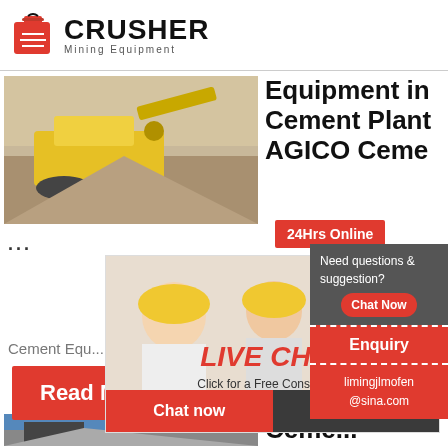[Figure (logo): Crusher Mining Equipment logo with red shopping bag icon and bold CRUSHER text]
[Figure (photo): Yellow mining crusher/excavator machine on a construction site with gravel and sky background]
Equipment in Cement Plant AGICO Ceme...
24Hrs Online
...
[Figure (photo): Workers in hard hats, Live Chat overlay with Chat now and Chat later buttons]
LIVE CHAT
Click for a Free Consultation
Chat now
Chat later
Cement Equ...
Read More
[Figure (photo): Mining/quarry equipment on site with blue sky background]
Ceme...
Need questions & suggestion?
Chat Now
Enquiry
limingjlmofen@sina.com